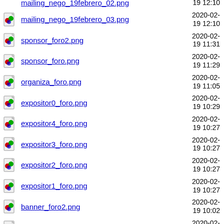mailing_nego_19febrero_02.png  2020-02-19 12:10
mailing_nego_19febrero_03.png  2020-02-19 12:10
sponsor_foro2.png  2020-02-19 11:31
sponsor_foro.png  2020-02-19 11:29
organiza_foro.png  2020-02-19 11:05
expositor0_foro.png  2020-02-19 10:29
expositor4_foro.png  2020-02-19 10:27
expositor3_foro.png  2020-02-19 10:27
expositor2_foro.png  2020-02-19 10:27
expositor1_foro.png  2020-02-19 10:27
banner_foro2.png  2020-02-19 10:02
banner_seminario_rrhh.png  2020-02-19 09:57